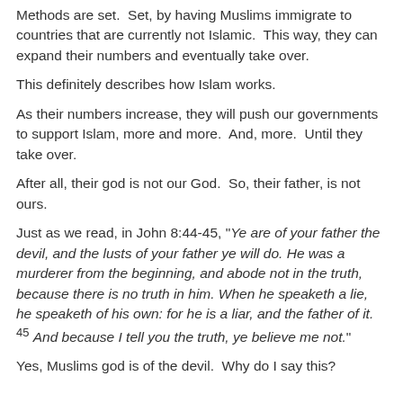Methods are set.  Set, by having Muslims immigrate to countries that are currently not Islamic.  This way, they can expand their numbers and eventually take over.
This definitely describes how Islam works.
As their numbers increase, they will push our governments to support Islam, more and more.  And, more.  Until they take over.
After all, their god is not our God.  So, their father, is not ours.
Just as we read, in John 8:44-45, "Ye are of your father the devil, and the lusts of your father ye will do. He was a murderer from the beginning, and abode not in the truth, because there is no truth in him. When he speaketh a lie, he speaketh of his own: for he is a liar, and the father of it. 45 And because I tell you the truth, ye believe me not."
Yes, Muslims god is of the devil.  Why do I say this?